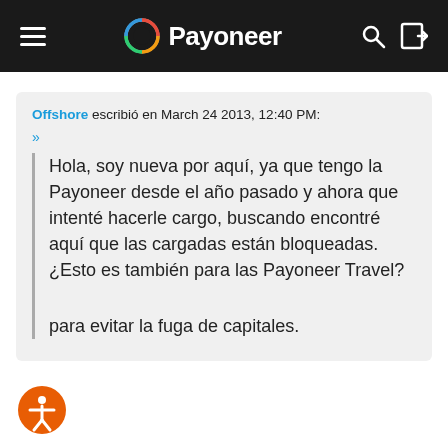Payoneer
Offshore escribió en March 24 2013, 12:40 PM:
»
Hola, soy nueva por aquí, ya que tengo la Payoneer desde el año pasado y ahora que intenté hacerle cargo, buscando encontré aquí que las cargadas están bloqueadas. ¿Esto es también para las Payoneer Travel?

para evitar la fuga de capitales.
[Figure (logo): Accessibility icon button (orange circle with white person figure)]